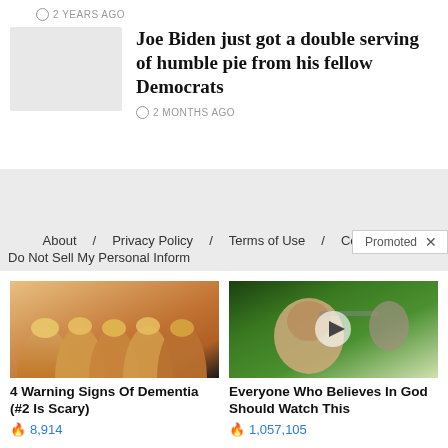2 YEARS AGO
Joe Biden just got a double serving of humble pie from his fellow Democrats
2 MONTHS AGO
About / Privacy Policy / Terms of Use / Contact / Do Not Sell My Personal Inform...
Promoted X
[Figure (photo): Close-up of yellowed fingernails]
4 Warning Signs Of Dementia (#2 Is Scary)
8,914
[Figure (photo): Woman pointing outdoors, video play button overlay]
Everyone Who Believes In God Should Watch This
1,057,105